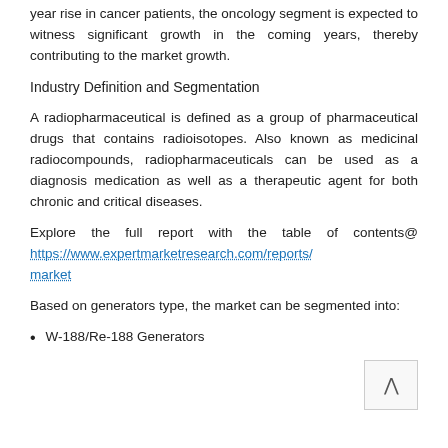year rise in cancer patients, the oncology segment is expected to witness significant growth in the coming years, thereby contributing to the market growth.
Industry Definition and Segmentation
A radiopharmaceutical is defined as a group of pharmaceutical drugs that contains radioisotopes. Also known as medicinal radiocompounds, radiopharmaceuticals can be used as a diagnosis medication as well as a therapeutic agent for both chronic and critical diseases.
Explore the full report with the table of contents@ https://www.expertmarketresearch.com/reports/...market
Based on generators type, the market can be segmented into:
W-188/Re-188 Generators